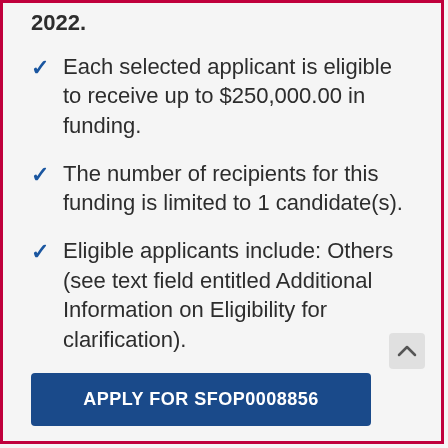2022.
Each selected applicant is eligible to receive up to $250,000.00 in funding.
The number of recipients for this funding is limited to 1 candidate(s).
Eligible applicants include: Others (see text field entitled Additional Information on Eligibility for clarification).
APPLY FOR SFOP0008856